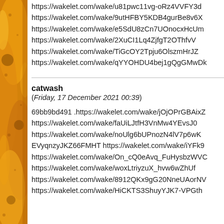[Figure (photo): Left edge: photo of a sunflower with orange and yellow petals, partially visible on left side of page]
https://wakelet.com/wake/u81pwc11vg-oRz4VVFY3d
https://wakelet.com/wake/9utHFBY5KDB4gurBe8v6X
https://wakelet.com/wake/e5SdU8zCn7UOnocxHcUm
https://wakelet.com/wake/2XuCI1Lq4ZjfgT2OThfvV
https://wakelet.com/wake/TiGcOY2Tpju6OlszmHrJZ
https://wakelet.com/wake/qYYOHDU4bej1gQgGMwDk
catwash
(Friday, 17 December 2021 00:39)
69bb9bd491 .https://wakelet.com/wake/jOjOPrGBAixZ
https://wakelet.com/wake/faUiLJtfH3VnMw4YEvsJ0
https://wakelet.com/wake/noUlg6bUPnozN4lV7p6wK
EVyqnzyJKZ66FMHT https://wakelet.com/wake/iYFk9
https://wakelet.com/wake/On_cQ0eAvq_FuHysbzWVC
https://wakelet.com/wake/woxLtriyzuX_hvw6wZhUf
https://wakelet.com/wake/8912QKx9gG20NneUAorNV
https://wakelet.com/wake/HiCKTS3ShuyYJK7-VPGth